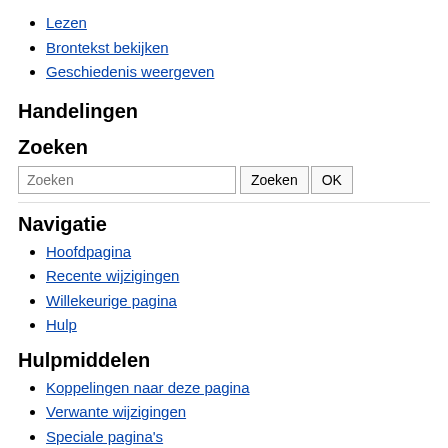Lezen
Brontekst bekijken
Geschiedenis weergeven
Handelingen
Zoeken
Zoeken [search input] OK [button]
Navigatie
Hoofdpagina
Recente wijzigingen
Willekeurige pagina
Hulp
Hulpmiddelen
Koppelingen naar deze pagina
Verwante wijzigingen
Speciale pagina's
Printervrienddelijke versie